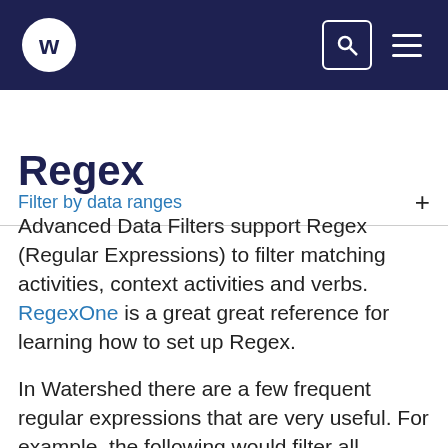w [logo] [search icon] [menu icon]
Filter by data ranges +
Regex
Advanced Data Filters support Regex (Regular Expressions) to filter matching activities, context activities and verbs. RegexOne is a great great reference for learning how to set up Regex.
In Watershed there are a few frequent regular expressions that are very useful. For example, the following would filter all statements where the activity id started with "https://twitter.com/"